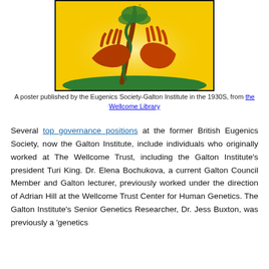[Figure (illustration): A colorful poster showing stylized hands grasping an intertwined tree/serpent motif on a yellow background with green ground, published by the Eugenics Society-Galton Institute in the 1930s.]
A poster published by the Eugenics Society-Galton Institute in the 1930S, from the Wellcome Library
Several top governance positions at the former British Eugenics Society, now the Galton Institute, include individuals who originally worked at The Wellcome Trust, including the Galton Institute's president Turi King. Dr. Elena Bochukova, a current Galton Council Member and Galton lecturer, previously worked under the direction of Adrian Hill at the Wellcome Trust Center for Human Genetics. The Galton Institute's Senior Genetics Researcher, Dr. Jess Buxton, was previously a 'genetics researcher' at the Wellcome Trust since...